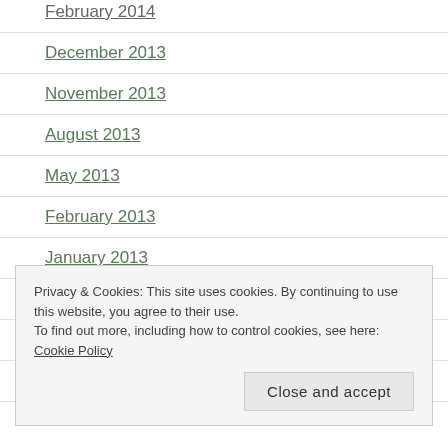February 2014
December 2013
November 2013
August 2013
May 2013
February 2013
January 2013
December 2012
November 2012
October 2012
Privacy & Cookies: This site uses cookies. By continuing to use this website, you agree to their use.
To find out more, including how to control cookies, see here: Cookie Policy
Close and accept